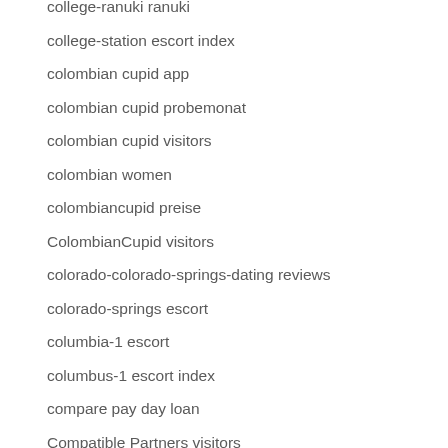college-ranuki ranuki
college-station escort index
colombian cupid app
colombian cupid probemonat
colombian cupid visitors
colombian women
colombiancupid preise
ColombianCupid visitors
colorado-colorado-springs-dating reviews
colorado-springs escort
columbia-1 escort
columbus-1 escort index
compare pay day loan
Compatible Partners visitors
compatible-partners-inceleme visitors